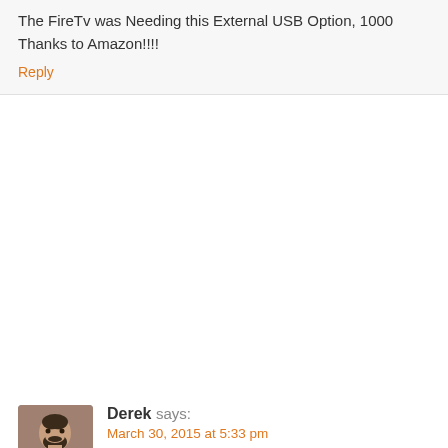Really Great.. The FireTv was Needing this External USB Option, 1000 Thanks to Amazon!!!!
Reply
[Figure (photo): Avatar photo of commenter Derek, a man with beard]
Derek says:
March 30, 2015 at 5:33 pm
Wah Wah Wahhhhhhhh almost had USB support for more